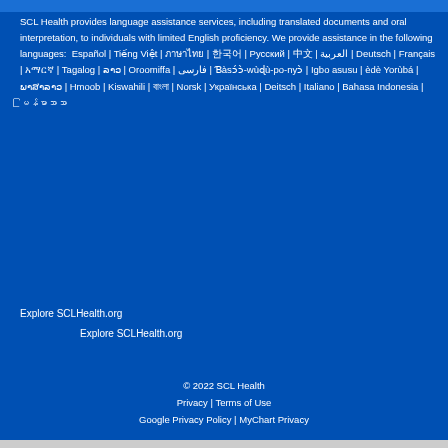SCL Health provides language assistance services, including translated documents and oral interpretation, to individuals with limited English proficiency. We provide assistance in the following languages: Español | Tiếng Việt | ภาษาไทย | 한국어 | Русский | 中文 | العربية | Deutsch | Français | አማርኛ | Tagalog | ລາວ | Oroomiffa | فارسی | Ɓàsɔ́ɔ̀-wùɖù-po-nyɔ̀ | Igbo asusu | èdè Yorùbá | ພາສາລາວ | Hmoob | Kiswahili | বাংলা | Norsk | Українська | Deitsch | Italiano | Bahasa Indonesia | မြန်မာဘာသာ
Explore SCLHealth.org
Explore SCLHealth.org
© 2022 SCL Health
Privacy | Terms of Use
Google Privacy Policy | MyChart Privacy